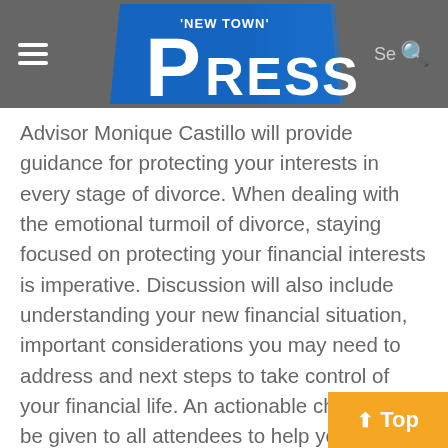'New Town' Press
Advisor Monique Castillo will provide guidance for protecting your interests in every stage of divorce. When dealing with the emotional turmoil of divorce, staying focused on protecting your financial interests is imperative. Discussion will also include understanding your new financial situation, important considerations you may need to address and next steps to take control of your financial life. An actionable checklist will be given to all attendees to help you stay on task and ensure the best possible outcome. The workshop will be held on Tuesday, Oct. 18 from 6:30 – 8:30 p.m.